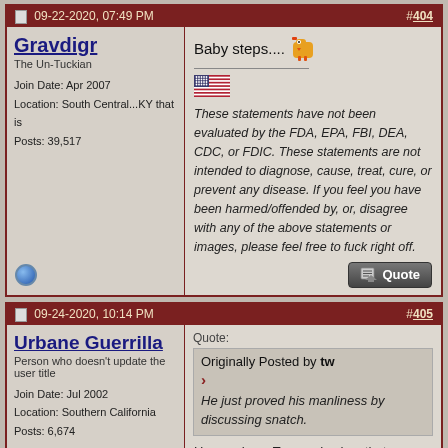09-22-2020, 07:49 PM  #404
Gravdigr
The Un-Tuckian
Join Date: Apr 2007
Location: South Central...KY that is
Posts: 39,517
Baby steps....
These statements have not been evaluated by the FDA, EPA, FBI, DEA, CDC, or FDIC. These statements are not intended to diagnose, cause, treat, cure, or prevent any disease. If you feel you have been harmed/offended by, or, disagree with any of the above statements or images, please feel free to fuck right off.
09-24-2020, 10:14 PM  #405
Urbane Guerrilla
Person who doesn't update the user title
Join Date: Jul 2002
Location: Southern California
Posts: 6,674
Quote:
Originally Posted by tw
He just proved his manliness by discussing snatch.

How curious. Trump also has that same